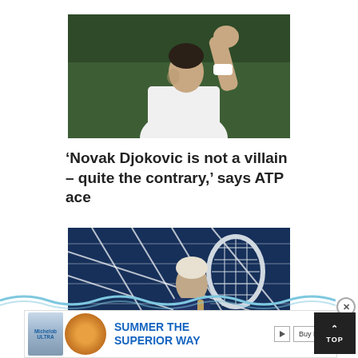[Figure (photo): Tennis player Novak Djokovic in white tennis outfit raising his fist in celebration, green background]
‘Novak Djokovic is not a villain – quite the contrary,’ says ATP ace
[Figure (photo): Tennis player holding a racket near the net, wearing dark blue outfit, dark blue net background]
[Figure (other): Advertisement banner: Michelob Ultra beer with burger image, text SUMMER THE SUPERIOR WAY, Buy Now button]